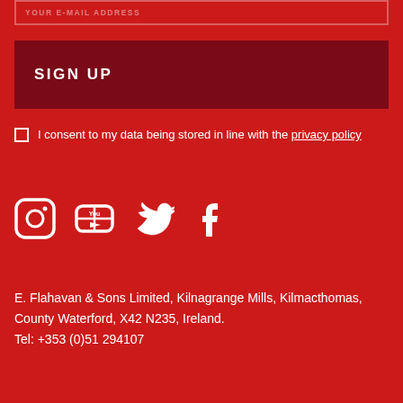YOUR E-MAIL ADDRESS
SIGN UP
I consent to my data being stored in line with the privacy policy
[Figure (illustration): Social media icons: Instagram, YouTube, Twitter, Facebook]
E. Flahavan & Sons Limited, Kilnagrange Mills, Kilmacthomas, County Waterford, X42 N235, Ireland. Tel: +353 (0)51 294107